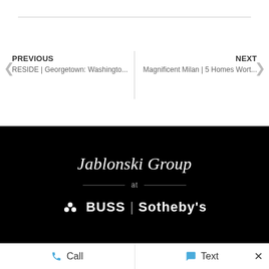PREVIOUS
RESIDE | Georgetown: Washingto...
NEXT
Magnificent Milan | 5 Homes Wort...
[Figure (logo): Jablonski Group at Buss Sotheby's logo on black background]
Call
Text